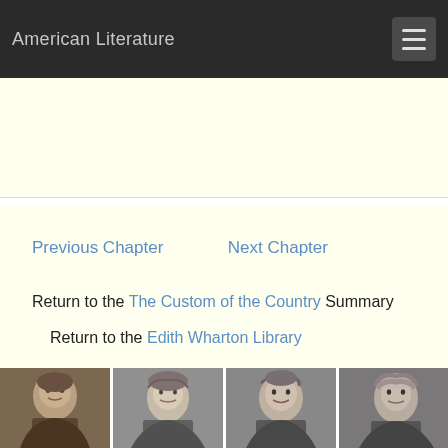American Literature
Previous Chapter   Next Chapter
Return to the The Custom of the Country Summary
Return to the Edith Wharton Library
[Figure (photo): Four black and white portrait photographs of American literary authors arranged in a row at the bottom of the page]